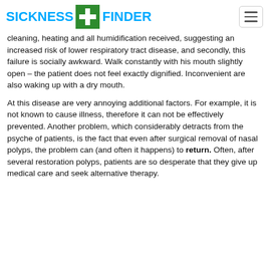SICKNESS FINDER
cleaning, heating and all humidification received, suggesting an increased risk of lower respiratory tract disease, and secondly, this failure is socially awkward. Walk constantly with his mouth slightly open – the patient does not feel exactly dignified. Inconvenient are also waking up with a dry mouth.
At this disease are very annoying additional factors. For example, it is not known to cause illness, therefore it can not be effectively prevented. Another problem, which considerably detracts from the psyche of patients, is the fact that even after surgical removal of nasal polyps, the problem can (and often it happens) to return. Often, after several restoration polyps, patients are so desperate that they give up medical care and seek alternative therapy.